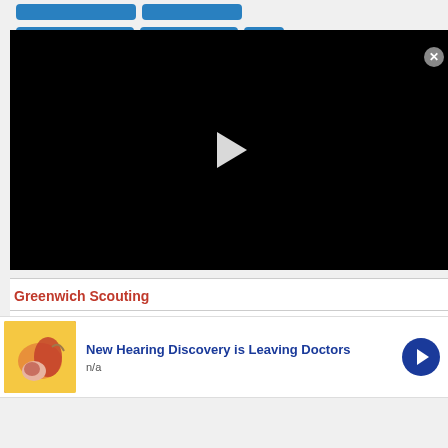[Figure (screenshot): Video player with black background and white play button triangle in center]
Greenwich Scouting
Kevin O'Shea
[Figure (infographic): Advertisement banner: ear anatomy illustration with text 'New Hearing Discovery is Leaving Doctors' and 'n/a', with blue circular arrow button and gray close button]